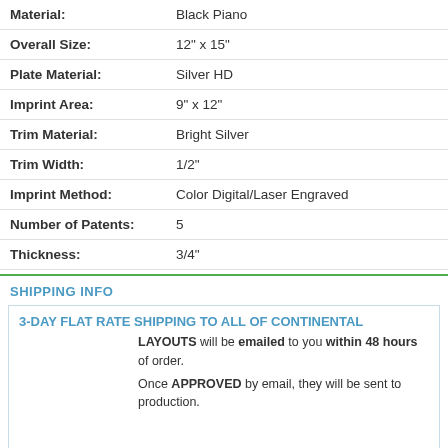Material: Black Piano
Overall Size: 12" x 15"
Plate Material: Silver HD
Imprint Area: 9" x 12"
Trim Material: Bright Silver
Trim Width: 1/2"
Imprint Method: Color Digital/Laser Engraved
Number of Patents: 5
Thickness: 3/4"
SHIPPING INFO
3-DAY FLAT RATE SHIPPING TO ALL OF CONTINENTAL
[Figure (logo): Certified Reviews badge with number 172 and star rating]
LAYOUTS will be emailed to you within 48 hours of order.
Once APPROVED by email, they will be sent to production.